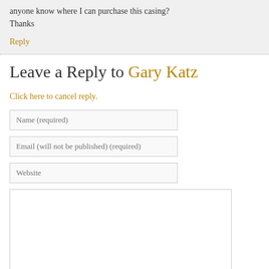anyone know where I can purchase this casing? Thanks
Reply
Leave a Reply to Gary Katz
Click here to cancel reply.
Name (required)
Email (will not be published) (required)
Website